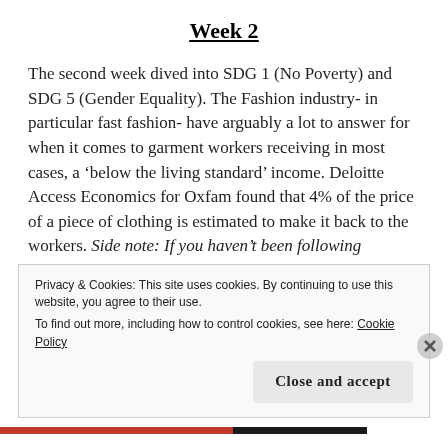Week 2
The second week dived into SDG 1 (No Poverty) and SDG 5 (Gender Equality). The Fashion industry- in particular fast fashion- have arguably a lot to answer for when it comes to garment workers receiving in most cases, a ‘below the living standard’ income. Deloitte Access Economics for Oxfam found that 4% of the price of a piece of clothing is estimated to make it back to the workers. Side note: If you haven’t been following #PayUp on Instagram, then get to it! The pandemic has caused BIG brands
Privacy & Cookies: This site uses cookies. By continuing to use this website, you agree to their use.
To find out more, including how to control cookies, see here: Cookie Policy
Close and accept